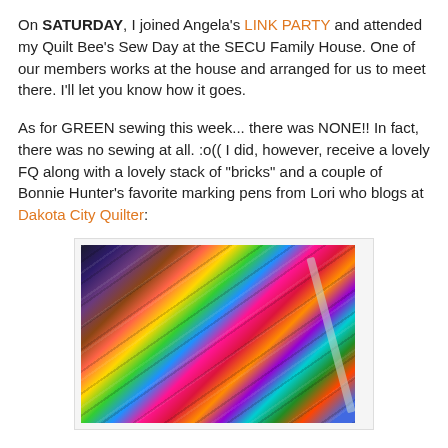On SATURDAY, I joined Angela's LINK PARTY and attended my Quilt Bee's Sew Day at the SECU Family House.  One of our members works at the house and arranged for us to meet there.  I'll let you know how it goes.
As for GREEN sewing this week... there was NONE!!  In fact, there was no sewing at all.  :o((  I did, however, receive a lovely FQ along with a lovely stack of "bricks" and a couple of Bonnie Hunter's favorite marking pens from Lori who blogs at Dakota City Quilter:
[Figure (photo): A stack of colorful quilting fabric squares (fat quarters/bricks) in various patterns and colors, with a marking pen visible on top, against a green background.]
Thank you for the wonderful swap, Lori!!  I hope you found